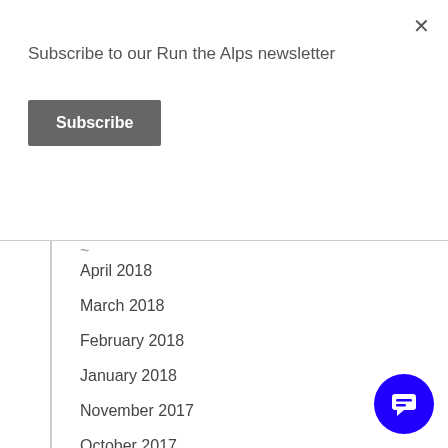Subscribe to our Run the Alps newsletter
Subscribe
April 2018
March 2018
February 2018
January 2018
November 2017
October 2017
September 2017
August 2017
July 2017
June 2017